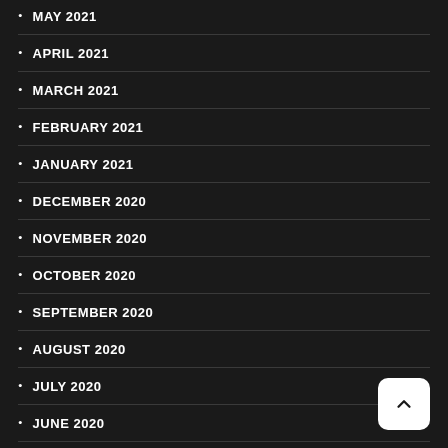MAY 2021
APRIL 2021
MARCH 2021
FEBRUARY 2021
JANUARY 2021
DECEMBER 2020
NOVEMBER 2020
OCTOBER 2020
SEPTEMBER 2020
AUGUST 2020
JULY 2020
JUNE 2020
MAY 2020